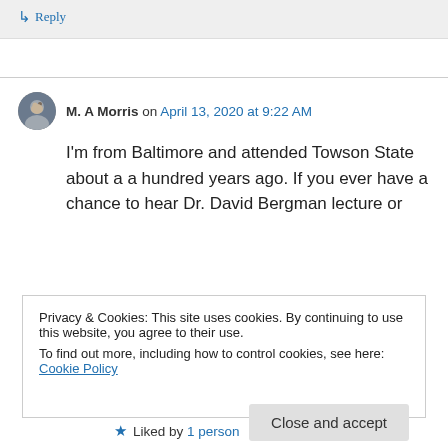Reply
M. A Morris on April 13, 2020 at 9:22 AM
I'm from Baltimore and attended Towson State about a a hundred years ago. If you ever have a chance to hear Dr. David Bergman lecture or
Privacy & Cookies: This site uses cookies. By continuing to use this website, you agree to their use.
To find out more, including how to control cookies, see here: Cookie Policy
Close and accept
Liked by 1 person